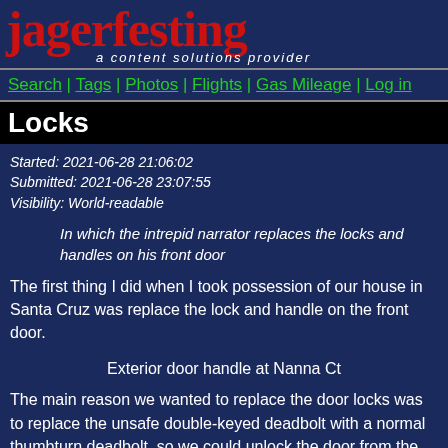jagerfesting a content solutions provider
Search | Tags | Photos | Flights | Gas Mileage | Log in
Locks
Started: 2021-06-28 21:06:02
Submitted: 2021-06-28 23:07:55
Visibility: World-readable
In which the intrepid narrator replaces the locks and handles on his front door
The first thing I did when I took possession of our house in Santa Cruz was replace the lock and handle on the front door.
Exterior door handle at Nanna Ct
The main reason we wanted to replace the door locks was to replace the unsafe double-keyed deadbolt with a normal thumbturn deadbolt, so we could unlock the door from the inside without a key in the event of an emergency evacuation. A close second was to install a smart deadbolt that could be controlled